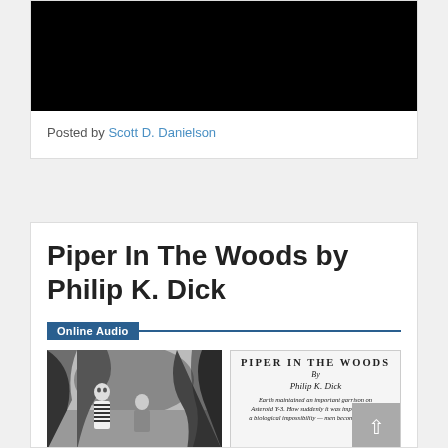[Figure (photo): Black rectangle representing a video or image thumbnail at the top of a blog post card]
Posted by Scott D. Danielson
Piper In The Woods by Philip K. Dick
[Figure (infographic): Online Audio banner with a dark blue badge label and horizontal line, followed by a black-and-white illustration of two figures in a wooded/cave setting on the left, and on the right a magazine page header reading PIPER IN THE WOODS by Philip K. Dick with descriptive text about Earth maintaining an important garrison on Asteroid Y-3 and men becoming plants]
Earth maintained an important garrison on Asteroid Y-3. How suddenly it was imperiled with a biological impossibility — men becoming plants!